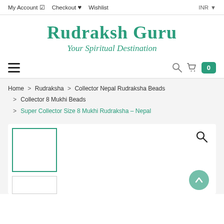My Account  Checkout  Wishlist    INR
Rudraksh Guru
Your Spiritual Destination
☰   🔍 🛒 0
Home > Rudraksha > Collector Nepal Rudraksha Beads > Collector 8 Mukhi Beads > Super Collector Size 8 Mukhi Rudraksha – Nepal
[Figure (screenshot): Product image area with thumbnail images of Rudraksha bead and a magnifier/search icon overlay. Main selected thumbnail outlined in teal, smaller thumbnails below.]